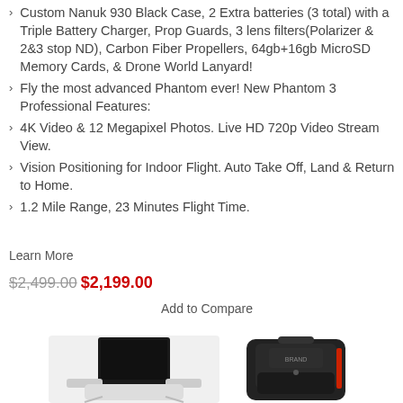Custom Nanuk 930 Black Case, 2 Extra batteries (3 total) with a Triple Battery Charger, Prop Guards, 3 lens filters(Polarizer & 2&3 stop ND), Carbon Fiber Propellers, 64gb+16gb MicroSD Memory Cards, & Drone World Lanyard!
Fly the most advanced Phantom ever! New Phantom 3 Professional Features:
4K Video & 12 Megapixel Photos. Live HD 720p Video Stream View.
Vision Positioning for Indoor Flight. Auto Take Off, Land & Return to Home.
1.2 Mile Range, 23 Minutes Flight Time.
Learn More
$2,499.00 $2,199.00
Add to Compare
[Figure (photo): Product images: drone controller with tablet on left, and a black backpack/bag on right]